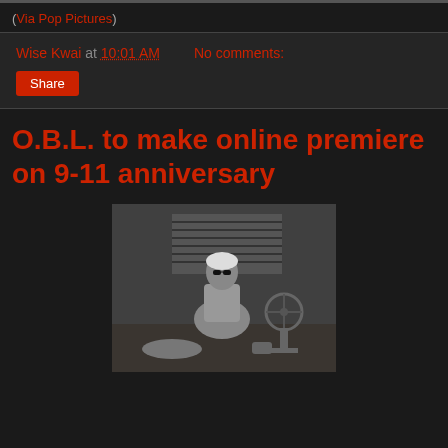(Via Pop Pictures)
Wise Kwai at 10:01 AM    No comments:
Share
O.B.L. to make online premiere on 9-11 anniversary
[Figure (photo): Black and white photo of a thin elderly man sitting cross-legged on a wooden floor, wearing sunglasses and a white head covering, shirtless, in front of a fan inside a rustic building.]